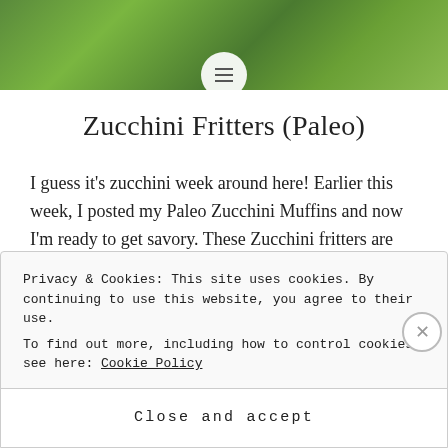[Figure (photo): Green garden/zucchini background photo at top of page with circular hamburger menu icon overlay]
Zucchini Fritters (Paleo)
I guess it's zucchini week around here! Earlier this week, I posted my Paleo Zucchini Muffins and now I'm ready to get savory. These Zucchini fritters are perfect for breakfast, lunch, and dinner- you can make a big batch and heat them up throughout the week. It doesn't get better than that! These zucchini fritters...
Privacy & Cookies: This site uses cookies. By continuing to use this website, you agree to their use.
To find out more, including how to control cookies, see here: Cookie Policy
Close and accept